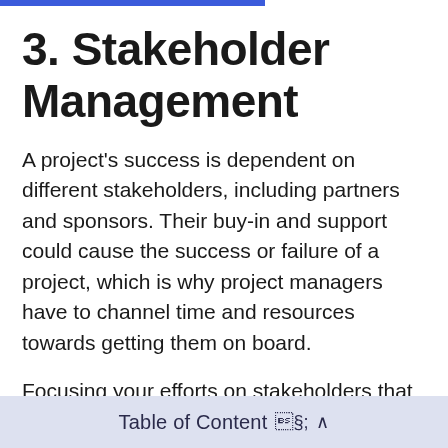3. Stakeholder Management
A project's success is dependent on different stakeholders, including partners and sponsors. Their buy-in and support could cause the success or failure of a project, which is why project managers have to channel time and resources towards getting them on board.
Focusing your efforts on stakeholders that have little effect on the project's success can jeopardize your efforts. Project managers should keep their
Table of Content  ∧